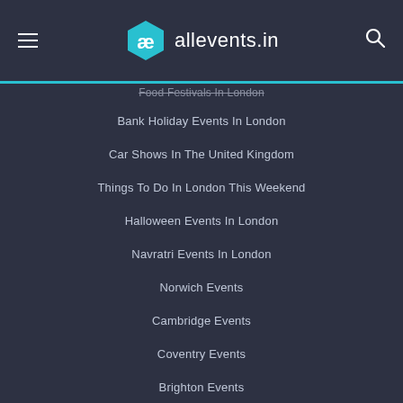allevents.in
Food Festivals In London
Bank Holiday Events In London
Car Shows In The United Kingdom
Things To Do In London This Weekend
Halloween Events In London
Navratri Events In London
Norwich Events
Cambridge Events
Coventry Events
Brighton Events
Cardiff Events
Barber Bash London - Barber Culture, Education & Socialising